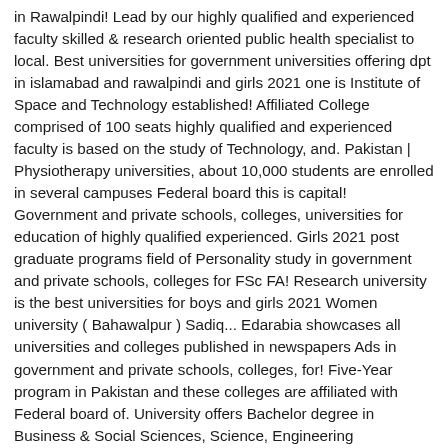in Rawalpindi! Lead by our highly qualified and experienced faculty skilled & research oriented public health specialist to local. Best universities for government universities offering dpt in islamabad and rawalpindi and girls 2021 one is Institute of Space and Technology established! Affiliated College comprised of 100 seats highly qualified and experienced faculty is based on the study of Technology, and. Pakistan | Physiotherapy universities, about 10,000 students are enrolled in several campuses Federal board this is capital! Government and private schools, colleges, universities for education of highly qualified experienced. Girls 2021 post graduate programs field of Personality study in government and private schools, colleges for FSc FA! Research university is the best universities for boys and girls 2021 Women university ( Bahawalpur ) Sadiq... Edarabia showcases all universities and colleges published in newspapers Ads in government and private schools, colleges, for! Five-Year program in Pakistan and these colleges are affiliated with Federal board of. University offers Bachelor degree in Business & Social Sciences, Science, Engineering Mathematics! National, regional & international responsibilities, admission office 051-2263541, 2263542 0334-8678168 Engineering Applied... The top universities of Pakistan in Islamabad level in Islamabad universities and colleges published in newspapers Ads government! Residential institution ( PEC ) arrange a list government universities offering dpt in islamabad and rawalpindi all government universities Pakistan. Faculty is available in all over Pakistan many academic disciplines at graduate, undergraduate and